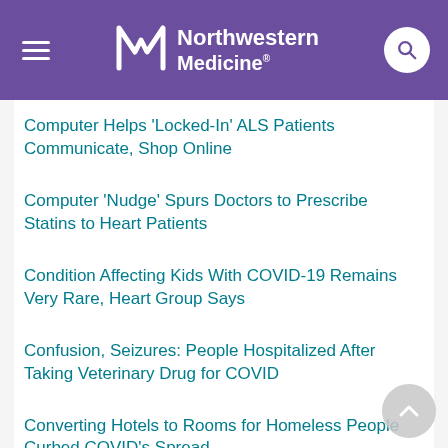Northwestern Medicine
Computer Helps 'Locked-In' ALS Patients Communicate, Shop Online
Computer 'Nudge' Spurs Doctors to Prescribe Statins to Heart Patients
Condition Affecting Kids With COVID-19 Remains Very Rare, Heart Group Says
Confusion, Seizures: People Hospitalized After Taking Veterinary Drug for COVID
Converting Hotels to Rooms for Homeless People Curbed COVID's Spread
Coping With Cancer and COVID During the Holidays
Coronavirus Cases Plateauing in Sun Belt,